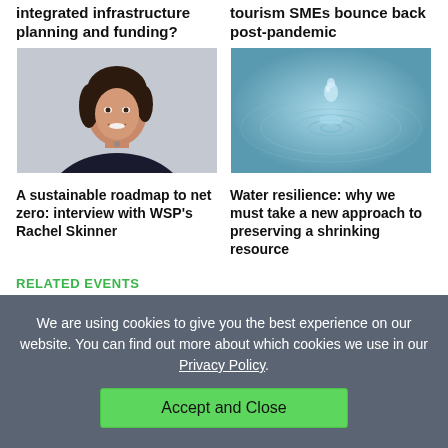integrated infrastructure planning and funding?
tourism SMEs bounce back post-pandemic
[Figure (photo): Portrait photo of a woman with dark hair, smiling, wearing a dark top, against a light background.]
[Figure (photo): Close-up photo of a water droplet creating ripples on a water surface, teal/blue toned.]
A sustainable roadmap to net zero: interview with WSP's Rachel Skinner
Water resilience: why we must take a new approach to preserving a shrinking resource
RELATED EVENTS
[Figure (photo): Partial event image on the left, showing circular shapes in light/peach tones.]
[Figure (photo): Partial event image on the right, showing a dark teal curved shape.]
We are using cookies to give you the best experience on our website. You can find out more about which cookies we use in our Privacy Policy.
Accept and Close